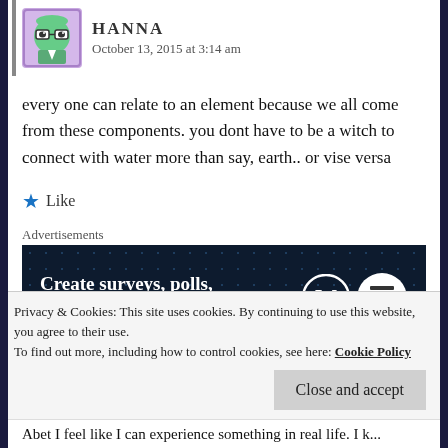HANNA
October 13, 2015 at 3:14 am
every one can relate to an element because we all come from these components. you dont have to be a witch to connect with water more than say, earth.. or vise versa
Like
Advertisements
[Figure (other): Advertisement banner: 'Create surveys, polls, quizzes, and forms.' with WordPress logo and survey icon on dark navy background with dot pattern]
REPORT THIS AD
Privacy & Cookies: This site uses cookies. By continuing to use this website, you agree to their use.
To find out more, including how to control cookies, see here: Cookie Policy
Close and accept
Abet I feel like I can experience something in real life. I k...